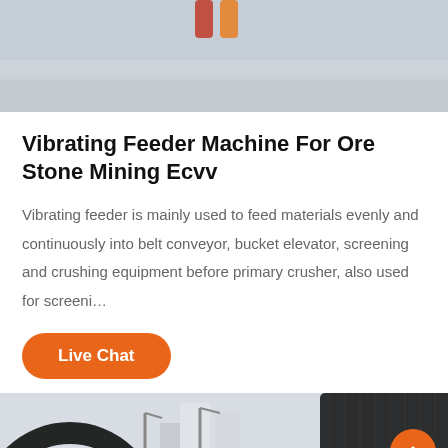[Figure (photo): Top photo showing mining/industrial equipment on a concrete surface with orange/red objects visible]
Vibrating Feeder Machine For Ore Stone Mining Ecvv
Vibrating feeder is mainly used to feed materials evenly and continuously into belt conveyor, bucket elevator, screening and crushing equipment before primary crusher, also used for screeni…
Live Chat
[Figure (photo): Bottom section photo showing industrial machinery including large gear rings and a tall silo/tower structure]
Leave Message
Chat Online